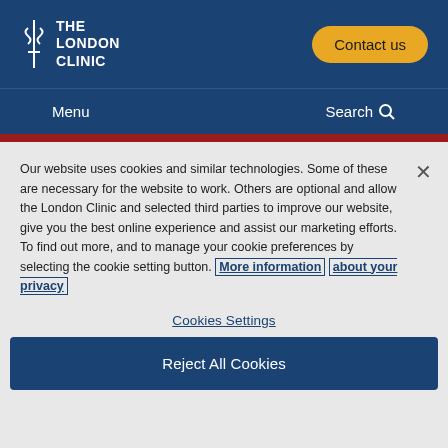THE LONDON CLINIC | Contact us
Menu | Search
Our website uses cookies and similar technologies. Some of these are necessary for the website to work. Others are optional and allow the London Clinic and selected third parties to improve our website, give you the best online experience and assist our marketing efforts. To find out more, and to manage your cookie preferences by selecting the cookie setting button. More information about your privacy
Cookies Settings
Reject All Cookies